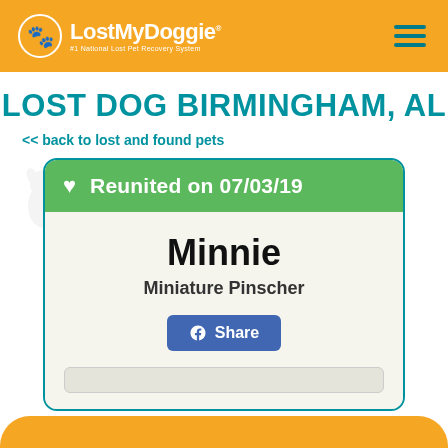[Figure (logo): LostMyDoggie logo with dog icon and tagline '#1 National Lost Pet Recovery System' on orange header bar, with teal hamburger menu icon on the right]
LOST DOG BIRMINGHAM, AL
<< back to lost and found pets
Reunited on 07/03/19
Minnie
Miniature Pinscher
Share